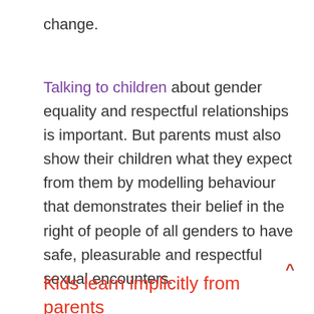change.
Talking to children about gender equality and respectful relationships is important. But parents must also show their children what they expect from them by modelling behaviour that demonstrates their belief in the right of people of all genders to have safe, pleasurable and respectful sexual encounters.
Kids learn implicitly from parents